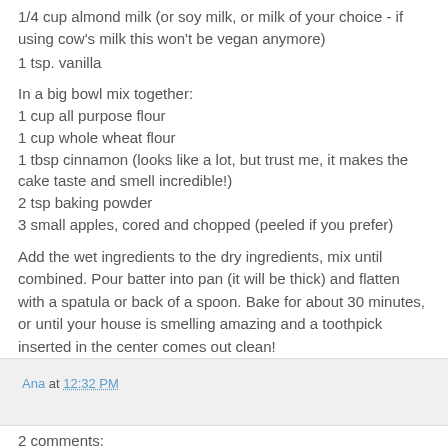1/4 cup almond milk (or soy milk, or milk of your choice - if using cow's milk this won't be vegan anymore)
1 tsp. vanilla
In a big bowl mix together:
1 cup all purpose flour
1 cup whole wheat flour
1 tbsp cinnamon (looks like a lot, but trust me, it makes the cake taste and smell incredible!)
2 tsp baking powder
3 small apples, cored and chopped (peeled if you prefer)
Add the wet ingredients to the dry ingredients, mix until combined. Pour batter into pan (it will be thick) and flatten with a spatula or back of a spoon. Bake for about 30 minutes, or until your house is smelling amazing and a toothpick inserted in the center comes out clean!
Ana at 12:32 PM
2 comments: